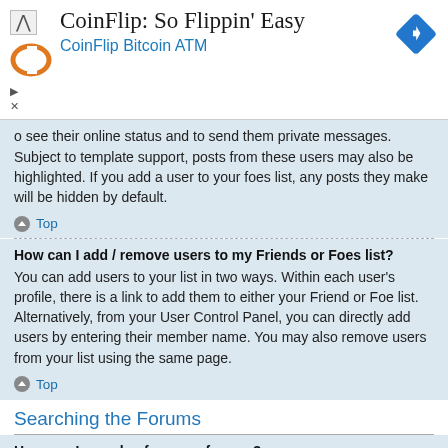[Figure (other): CoinFlip Bitcoin ATM advertisement banner with logo, title 'CoinFlip: So Flippin' Easy', subtitle 'CoinFlip Bitcoin ATM', and a blue diamond navigation icon.]
o see their online status and to send them private messages. Subject to template support, posts from these users may also be highlighted. If you add a user to your foes list, any posts they make will be hidden by default.
Top
How can I add / remove users to my Friends or Foes list?
You can add users to your list in two ways. Within each user's profile, there is a link to add them to either your Friend or Foe list. Alternatively, from your User Control Panel, you can directly add users by entering their member name. You may also remove users from your list using the same page.
Top
Searching the Forums
How can I search a forum or forums?
Enter a search term in the search box located on the index, forum or topic pages. Advanced search can be accessed by clicking the “Advance Search” link which is available on all pages on the forum. How to access the search may